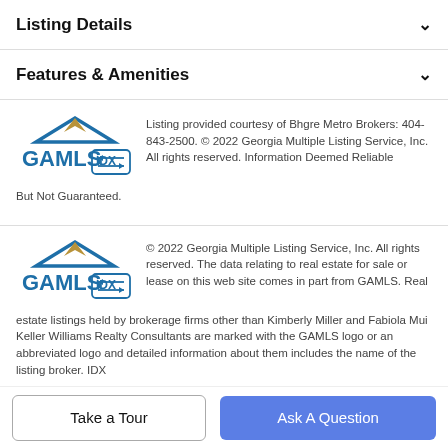Listing Details
Features & Amenities
Listing provided courtesy of Bhgre Metro Brokers: 404-843-2500. © 2022 Georgia Multiple Listing Service, Inc. All rights reserved. Information Deemed Reliable But Not Guaranteed.
[Figure (logo): GAMLS IDX logo]
© 2022 Georgia Multiple Listing Service, Inc. All rights reserved. The data relating to real estate for sale or lease on this web site comes in part from GAMLS. Real estate listings held by brokerage firms other than Kimberly Miller and Fabiola Mui Keller Williams Realty Consultants are marked with the GAMLS logo or an abbreviated logo and detailed information about them includes the name of the listing broker. IDX
[Figure (logo): GAMLS IDX logo]
Take a Tour
Ask A Question